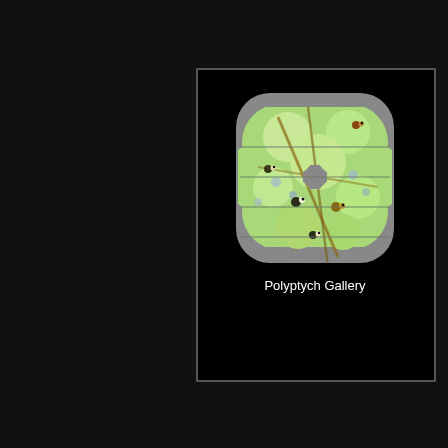[Figure (logo): App icon for Polyptych Gallery: a rounded-square shape with gray background containing a scalloped/flower-petal shaped frame, inside which is an illustration of birds perched among green foliage and branches. The icon has horizontal dividing lines across it suggesting a polyptych (multi-panel) layout. Below the icon, white text reads 'Polyptych Gallery'. The whole card is on a black background with a gray border, set against a dark background page.]
Polyptych Gallery